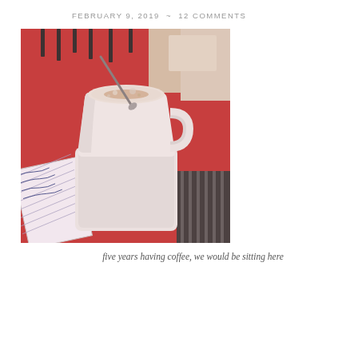FEBRUARY 9, 2019  ~  12 COMMENTS
[Figure (photo): A white ceramic coffee cup with a spoon resting in it, sitting on a white square saucer. The cup contains a cappuccino or latte with foam and cinnamon/cocoa sprinkled on top. The cup sits on a red tablecloth. In the lower left corner is an open notebook with handwritten notes. In the upper right there is a glimpse of chairs and a lighter background area.]
five years having coffee, we would be sitting here